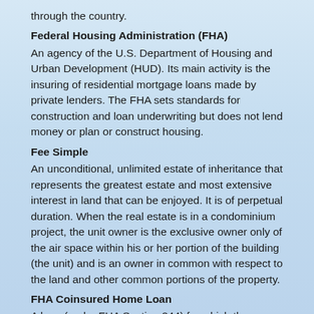through the country.
Federal Housing Administration (FHA)
An agency of the U.S. Department of Housing and Urban Development (HUD). Its main activity is the insuring of residential mortgage loans made by private lenders. The FHA sets standards for construction and loan underwriting but does not lend money or plan or construct housing.
Fee Simple
An unconditional, unlimited estate of inheritance that represents the greatest estate and most extensive interest in land that can be enjoyed. It is of perpetual duration. When the real estate is in a condominium project, the unit owner is the exclusive owner only of the air space within his or her portion of the building (the unit) and is an owner in common with respect to the land and other common portions of the property.
FHA Coinsured Home Loan
A loan (under FHA Section 244) for which the Federal Housing Administration (FHA) and the originating lender share the risk of loss in the event of the borrower's default.